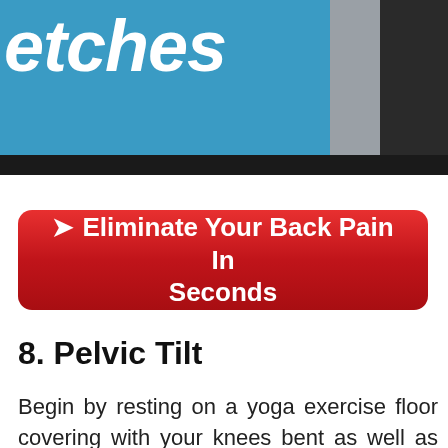[Figure (photo): Banner image showing partial word 'etches' in white bold italic text on a blue background with a grey section and a person in dark clothing on the right side, followed by a solid black bar below.]
➤ Eliminate Your Back Pain In Seconds
8. Pelvic Tilt
Begin by resting on a yoga exercise floor covering with your knees bent as well as feet level on the floor. Try to unwind your low back, maintaining it in a neutral setting which implies you ought to really feel a slight